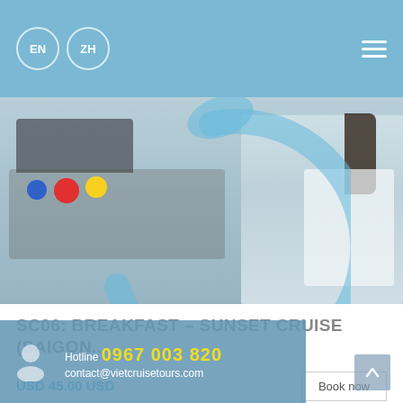EN  ZH  ☰
[Figure (photo): Hero image of people on a cruise boat on the water, with a loading spinner overlay in light blue]
SC06: BREAKFAST – SUNSET CRUISE (SAIGON...
USD 45.00 USD
Book now
[Figure (photo): Partial image of people with raised hands outdoors in a green/forested setting]
Hotline 0967 003 820
contact@vietcruisetours.com